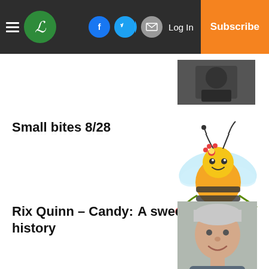L [logo] | Facebook | Twitter | Email | Log In | Subscribe
[Figure (photo): Small dark thumbnail photo of a person (partially visible, top right area)]
Small bites 8/28
[Figure (illustration): Cartoon cute bee illustration with wings, flower on head, yellow and black striped body, holding a small pink flower]
Rix Quinn – Candy: A sweet history
[Figure (photo): Photo of an older man with grey/white hair, smiling, with a microphone visible]